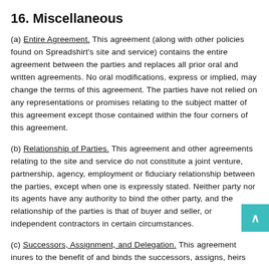16. Miscellaneous
(a) Entire Agreement. This agreement (along with other policies found on Spreadshirt's site and service) contains the entire agreement between the parties and replaces all prior oral and written agreements. No oral modifications, express or implied, may change the terms of this agreement. The parties have not relied on any representations or promises relating to the subject matter of this agreement except those contained within the four corners of this agreement.
(b) Relationship of Parties. This agreement and other agreements relating to the site and service do not constitute a joint venture, partnership, agency, employment or fiduciary relationship between the parties, except when one is expressly stated. Neither party nor its agents have any authority to bind the other party, and the relationship of the parties is that of buyer and seller, or independent contractors in certain circumstances.
(c) Successors, Assignment, and Delegation. This agreement inures to the benefit of and binds the successors, assigns, heirs